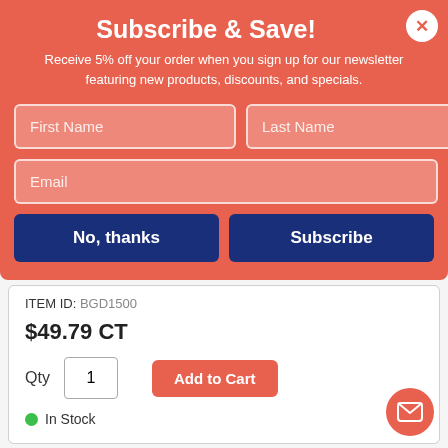Subscribe & Save!
Receive 5% off your order when you sign up for our newsletter featuring new products, discounts, and specials.
ITEM ID: BGD1500
$49.79 CT
Qty 1
In Stock
Enzym D Digester Liquid Deodorant, Lemon, 32 oz Bottle,